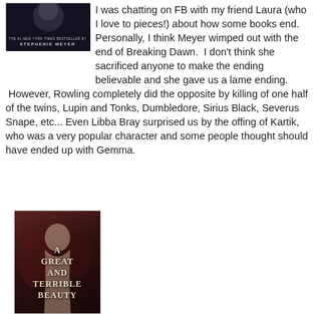[Figure (photo): Book cover of Breaking Dawn by Stephenie Meyer — dark background with a faint figure silhouette and author name at bottom]
I was chatting on FB with my friend Laura (who I love to pieces!) about how some books end. Personally, I think Meyer wimped out with the end of Breaking Dawn. I don't think she sacrificed anyone to make the ending believable and she gave us a lame ending. However, Rowling completely did the opposite by killing of one half of the twins, Lupin and Tonks, Dumbledore, Sirius Black, Severus Snape, etc... Even Libba Bray surprised us by the offing of Kartik, who was a very popular character and some people thought should have ended up with Gemma.
[Figure (photo): Book cover of A Great and Terrible Beauty — shows a woman's back, with the title text overlaid on a dark reddish-brown background]